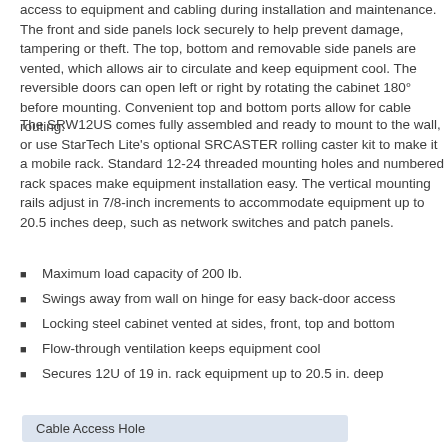access to equipment and cabling during installation and maintenance. The front and side panels lock securely to help prevent damage, tampering or theft. The top, bottom and removable side panels are vented, which allows air to circulate and keep equipment cool. The reversible doors can open left or right by rotating the cabinet 180° before mounting. Convenient top and bottom ports allow for cable routing.
The SRW12US comes fully assembled and ready to mount to the wall, or use StarTech Lite's optional SRCASTER rolling caster kit to make it a mobile rack. Standard 12-24 threaded mounting holes and numbered rack spaces make equipment installation easy. The vertical mounting rails adjust in 7/8-inch increments to accommodate equipment up to 20.5 inches deep, such as network switches and patch panels.
Maximum load capacity of 200 lb.
Swings away from wall on hinge for easy back-door access
Locking steel cabinet vented at sides, front, top and bottom
Flow-through ventilation keeps equipment cool
Secures 12U of 19 in. rack equipment up to 20.5 in. deep
Cable Access Hole